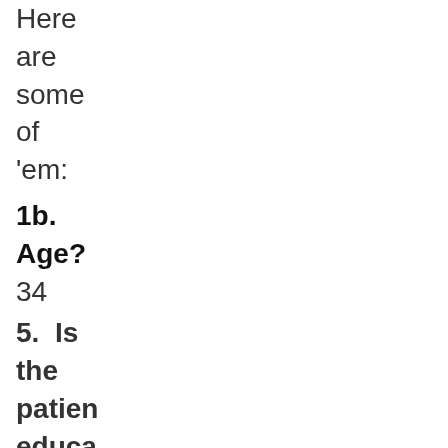Here are some of 'em:
1b. Age?
34
5.  Is the patient educa If so, to what extent comm school educa countr schoo
7a. Did